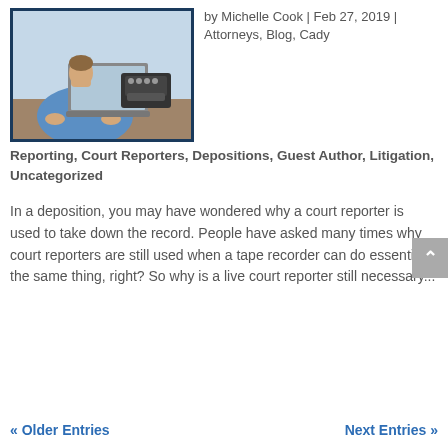[Figure (photo): Person in blue shirt typing on a laptop with a vintage typewriter in the background]
by Michelle Cook | Feb 27, 2019 | Attorneys, Blog, Cady Reporting, Court Reporters, Depositions, Guest Author, Litigation, Uncategorized
In a deposition, you may have wondered why a court reporter is used to take down the record. People have asked many times why court reporters are still used when a tape recorder can do essentially the same thing, right? So why is a live court reporter still necessary...
« Older Entries   Next Entries »